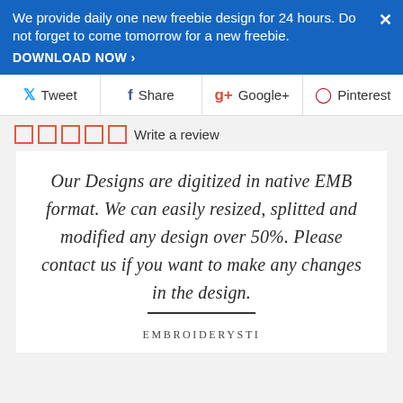We provide daily one new freebie design for 24 hours. Do not forget to come tomorrow for a new freebie. DOWNLOAD NOW ›
Tweet  Share  Google+  Pinterest
☐☐☐☐☐ Write a review
Our Designs are digitized in native EMB format. We can easily resized, splitted and modified any design over 50%. Please contact us if you want to make any changes in the design.
EMBROIDERYSTI...